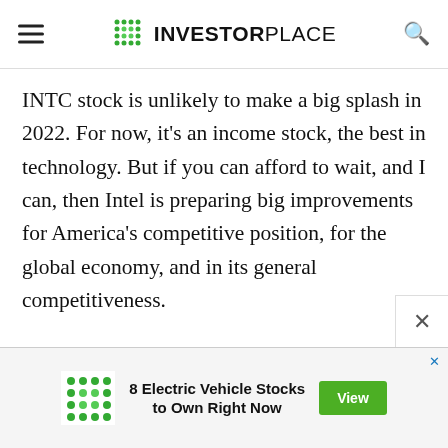InvestorPlace
INTC stock is unlikely to make a big splash in 2022. For now, it’s an income stock, the best in technology. But if you can afford to wait, and I can, then Intel is preparing big improvements for America’s competitive position, for the global economy, and in its general competitiveness.
Intel is finally an entrepreneurial company again, for the first time since Andy Grove retired in 1998. Win or lose, Gelsinger is determined Intel will go down fighting. Even if you don’t like INTC stock, you must root for hi…
[Figure (infographic): Advertisement banner: green dotted logo icon, text '8 Electric Vehicle Stocks to Own Right Now', green View button]